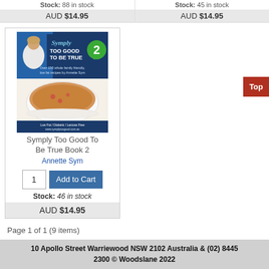Stock: 88 in stock
AUD $14.95
Stock: 45 in stock
AUD $14.95
[Figure (photo): Book cover of Symply Too Good To Be True Book 2 by Annette Sym, featuring a woman in white, the title in script, a green circle with number 2, and a dish of food on the cover]
Symply Too Good To Be True Book 2
Annette Sym
Stock: 46 in stock
AUD $14.95
Page 1 of 1 (9 items)
10 Apollo Street Warriewood NSW 2102 Australia & (02) 8445 2300 © Woodslane 2022